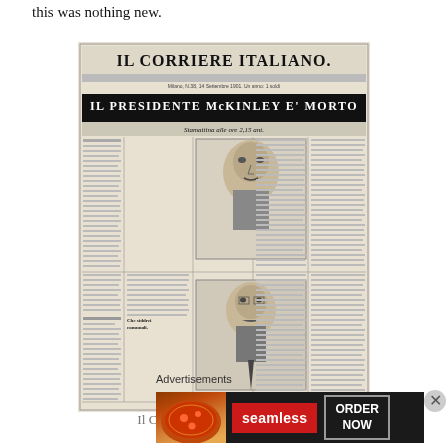this was nothing new.
[Figure (photo): Front page of Il Corriere Italiano newspaper with headline 'IL PRESIDENTE McKINLEY E' MORTO' (President McKinley is Dead), with portraits of McKinley and Roosevelt]
Il Corriere Italiano from the day
Advertisements
[Figure (photo): Seamless food delivery advertisement with pizza image, seamless logo, and ORDER NOW button]